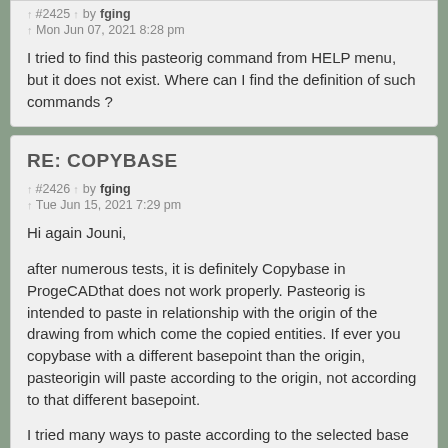↑ #2425 ↑ by fging
↑ Mon Jun 07, 2021 8:28 pm

I tried to find this pasteorig command from HELP menu, but it does not exist. Where can I find the definition of such commands ?
RE: COPYBASE
↑ #2426 ↑ by fging
↑ Tue Jun 15, 2021 7:29 pm

Hi again Jouni,

after numerous tests, it is definitely Copybase in ProgeCADthat does not work properly. Pasteorig is intended to paste in relationship with the origin of the drawing from which come the copied entities. If ever you copybase with a different basepoint than the origin, pasteorigin will paste according to the origin, not according to that different basepoint.

I tried many ways to paste according to the selected base